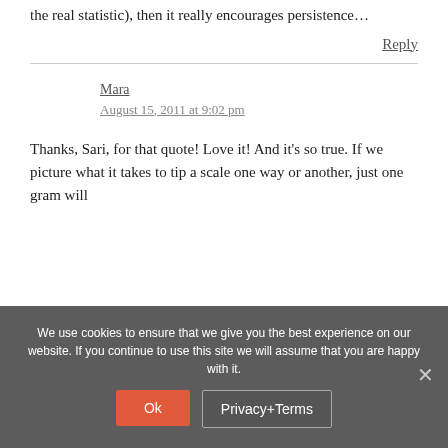the real statistic), then it really encourages persistence…
Reply
Mara
August 15, 2011 at 9:02 pm
Thanks, Sari, for that quote! Love it! And it's so true. If we picture what it takes to tip a scale one way or another, just one gram will
We use cookies to ensure that we give you the best experience on our website. If you continue to use this site we will assume that you are happy with it.
Ok
Privacy+Terms